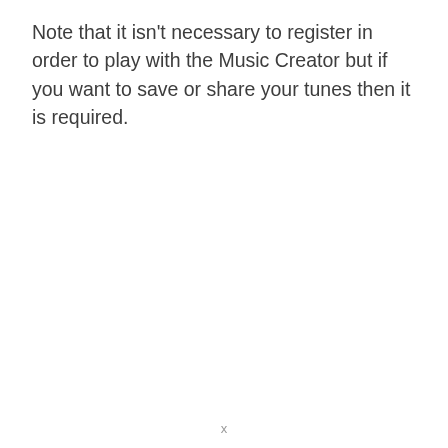Note that it isn't necessary to register in order to play with the Music Creator but if you want to save or share your tunes then it is required.
x